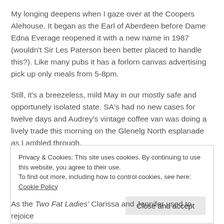My longing deepens when I gaze over at the Coopers Alehouse. It began as the Earl of Aberdeen before Dame Edna Everage reopened it with a new name in 1987 (wouldn't Sir Les Paterson been better placed to handle this?). Like many pubs it has a forlorn canvas advertising pick up only meals from 5-8pm.
Still, it's a breezeless, mild May in our mostly safe and opportunely isolated state. SA's had no new cases for twelve days and Audrey's vintage coffee van was doing a lively trade this morning on the Glenelg North esplanade as I ambled through.
Privacy & Cookies: This site uses cookies. By continuing to use this website, you agree to their use.
To find out more, including how to control cookies, see here: Cookie Policy
[Close and accept]
As the Two Fat Ladies' Clarissa and Jennifer used to rejoice